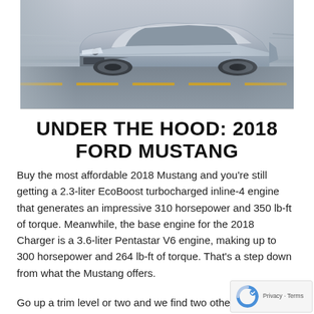[Figure (photo): A silver 2018 Ford Mustang captured in motion on a road, front three-quarter view, with a blurred background indicating speed.]
UNDER THE HOOD: 2018 FORD MUSTANG
Buy the most affordable 2018 Mustang and you're still getting a 2.3-liter EcoBoost turbocharged inline-4 engine that generates an impressive 310 horsepower and 350 lb-ft of torque. Meanwhile, the base engine for the 2018 Charger is a 3.6-liter Pentastar V6 engine, making up to 300 horsepower and 264 lb-ft of torque. That's a step down from what the Mustang offers.
Go up a trim level or two and we find two othe…